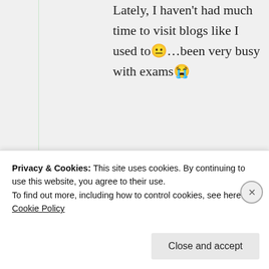Lately, I haven't had much time to visit blogs like I used to 😐…been very busy with exams 😭
★ Liked by 1 person
Suma Reddy
23rd Jun 2021 at 2:15 pm
Privacy & Cookies: This site uses cookies. By continuing to use this website, you agree to their use.
To find out more, including how to control cookies, see here: Cookie Policy